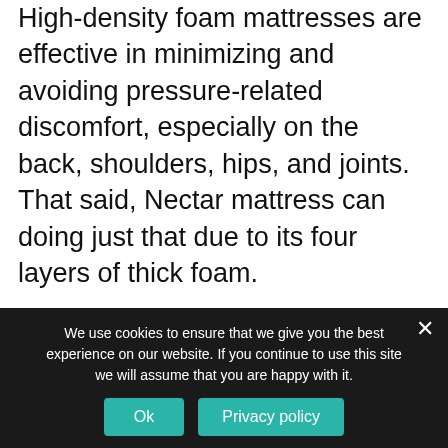High-density foam mattresses are effective in minimizing and avoiding pressure-related discomfort, especially on the back, shoulders, hips, and joints. That said, Nectar mattress can doing just that due to its four layers of thick foam.
You will get great pressure relief around your shoulders, lumbar region, and hips when you sleep on your back, side or stomach. However, you are most likely to experience pressure on your back and hips if you sleep on your back or stomach for too long.
We use cookies to ensure that we give you the best experience on our website. If you continue to use this site we will assume that you are happy with it.